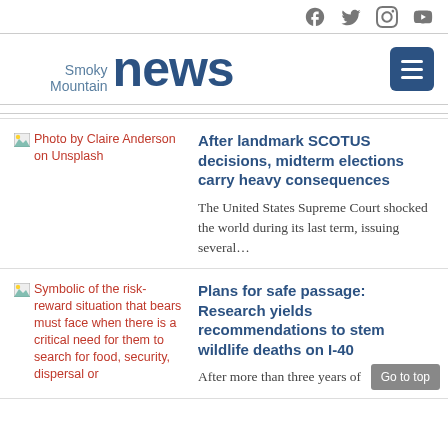Social icons: Facebook, Twitter, Instagram, YouTube
Smoky Mountain news
[Figure (photo): Photo by Claire Anderson on Unsplash - broken image placeholder with red alt text]
After landmark SCOTUS decisions, midterm elections carry heavy consequences
The United States Supreme Court shocked the world during its last term, issuing several…
[Figure (photo): Symbolic of the risk-reward situation that bears must face when there is a critical need for them to search for food, security, dispersal or]
Plans for safe passage: Research yields recommendations to stem wildlife deaths on I-40
After more than three years of